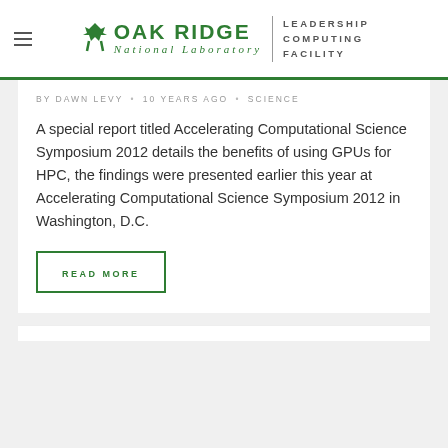Oak Ridge National Laboratory | Leadership Computing Facility
BY DAWN LEVY • 10 YEARS AGO • SCIENCE
A special report titled Accelerating Computational Science Symposium 2012 details the benefits of using GPUs for HPC, the findings were presented earlier this year at Accelerating Computational Science Symposium 2012 in Washington, D.C.
READ MORE